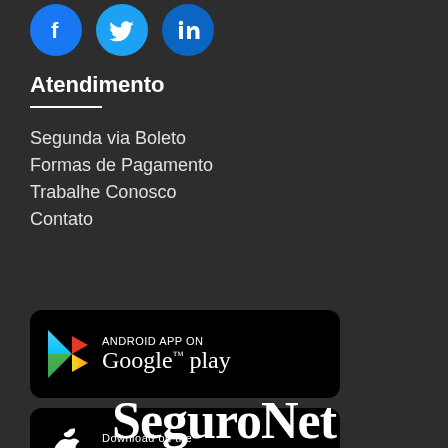[Figure (illustration): Social media icons: Facebook (blue circle with f), Twitter (blue circle with bird), LinkedIn (blue circle with in)]
Atendimento
Segunda via Boleto
Formas de Pagamento
Trabalhe Conosco
Contato
[Figure (logo): Android App on Google play badge - black rounded rectangle with Google Play logo and text]
[Figure (logo): Download on the App Store badge - black rounded rectangle with Apple logo and text]
SeguroNet